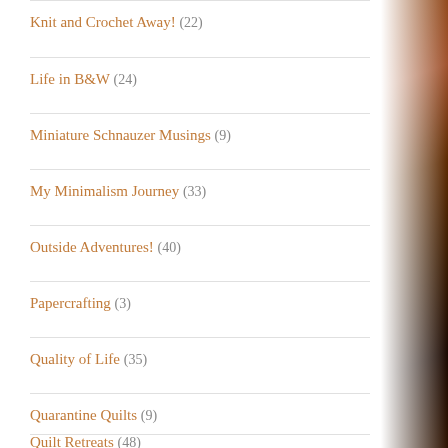Knit and Crochet Away! (22)
Life in B&W (24)
Miniature Schnauzer Musings (9)
My Minimalism Journey (33)
Outside Adventures! (40)
Papercrafting (3)
Quality of Life (35)
Quarantine Quilts (9)
Quilt Retreats (48)